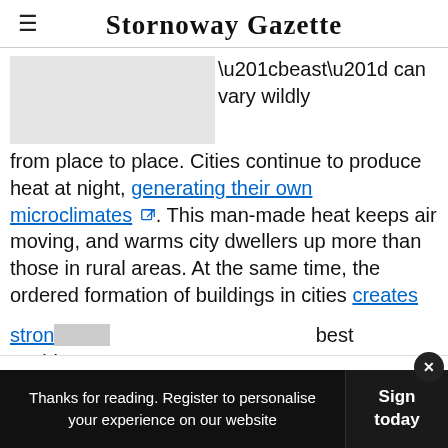Stornoway Gazette
[Figure (photo): Partial image placeholder (grey box, image content obscured)]
“beast” can vary wildly from place to place. Cities continue to produce heat at night, generating their own microclimates. This man-made heat keeps air moving, and warms city dwellers up more than those in rural areas. At the same time, the ordered formation of buildings in cities creates stron[g...] best avoid[...]
[Figure (screenshot): Advertisement banner: Back To School Shopping Deals - Leesburg Premium Outlets]
Thanks for reading. Register to personalise your experience on our website | Sign today